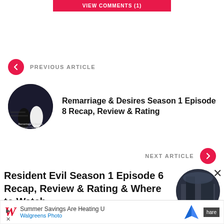VIEW COMMENTS (1)
PREVIOUS ARTICLE
[Figure (photo): Circular thumbnail of Remarriage and Desires show poster with two women in formal dresses]
Remarriage & Desires Season 1 Episode 8 Recap, Review & Rating
NEXT ARTICLE
Resident Evil Season 1 Episode 6 Recap, Review & Rating & Where to Watch
[Figure (photo): Circular thumbnail showing a dark building scene]
Summer Savings Are Heating U
Walgreens Photo
hare